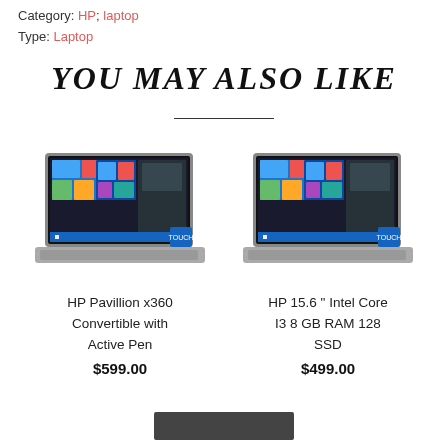Category: HP; laptop
Type: Laptop
YOU MAY ALSO LIKE
[Figure (photo): HP Pavillion x360 Convertible laptop with Windows 10 screen and a blue touch badge in lower right corner]
HP Pavillion x360 Convertible with Active Pen
$599.00
[Figure (photo): HP 15.6 inch laptop with Windows 10 screen and a blue touch badge in lower right corner]
HP 15.6 " Intel Core I3 8 GB RAM 128 SSD
$499.00